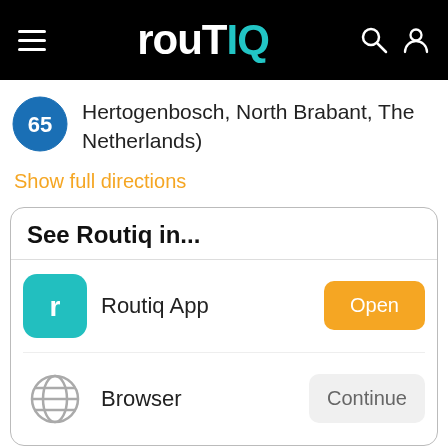ROUTIQ
Hertogenbosch, North Brabant, The Netherlands)
Show full directions
See Routiq in...
Routiq App
Open
Browser
Continue